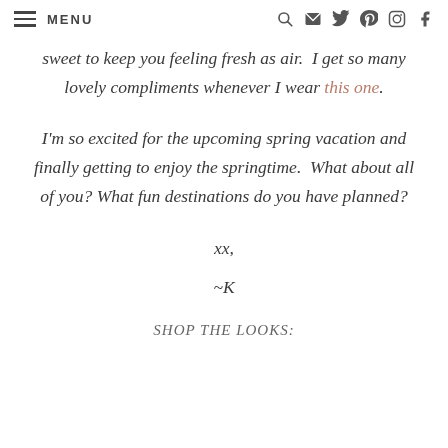MENU [navigation icons]
sweet to keep you feeling fresh as air.  I get so many lovely compliments whenever I wear this one.
I'm so excited for the upcoming spring vacation and finally getting to enjoy the springtime.  What about all of you?  What fun destinations do you have planned?
xx,
~K
SHOP THE LOOKS: